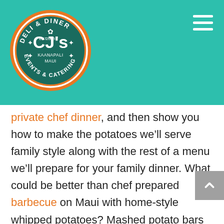[Figure (logo): CJ's Deli & Diner Kaanapali Maui Events & Catering circular orange logo]
private chef dinner, and then show you how to make the potatoes we'll serve family style along with the rest of a menu we'll prepare for your family dinner. What could be better than chef prepared barbecue on Maui with home-style whipped potatoes? Mashed potato bars are perfect for weddings and other catered events on Maui, too! Our Kaanapali catering company provides full service catering on Maui.
You'll always find home-style mashed potatoes on the menu at CJ's and we often include our whipped potatoes and fresh steamed vegetables as sides with